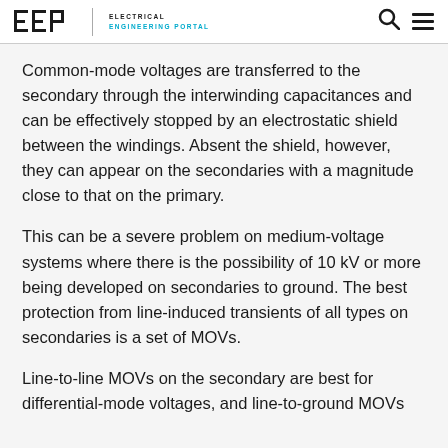EEP | ELECTRICAL ENGINEERING PORTAL
Common-mode voltages are transferred to the secondary through the interwinding capacitances and can be effectively stopped by an electrostatic shield between the windings. Absent the shield, however, they can appear on the secondaries with a magnitude close to that on the primary.
This can be a severe problem on medium-voltage systems where there is the possibility of 10 kV or more being developed on secondaries to ground. The best protection from line-induced transients of all types on secondaries is a set of MOVs.
Line-to-line MOVs on the secondary are best for differential-mode voltages, and line-to-ground MOVs will provide the best protection from common-mode transients.